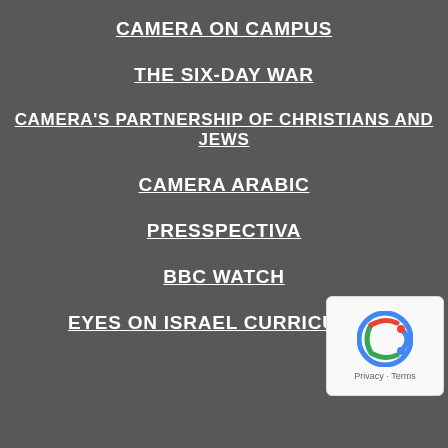CAMERA ON CAMPUS
THE SIX-DAY WAR
CAMERA'S PARTNERSHIP OF CHRISTIANS AND JEWS
CAMERA ARABIC
PRESSPECTIVA
BBC WATCH
EYES ON ISRAEL CURRICULUM
[Figure (other): reCAPTCHA badge with Privacy and Terms links]